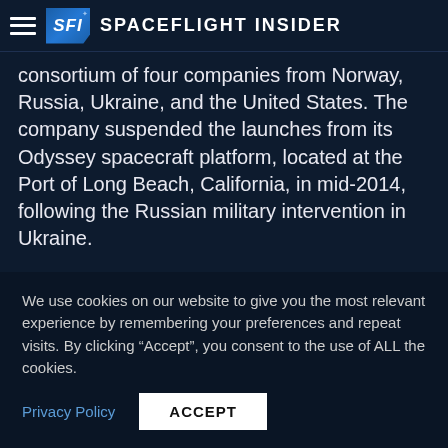Spaceflight Insider
consortium of four companies from Norway, Russia, Ukraine, and the United States. The company suspended the launches from its Odyssey spacecraft platform, located at the Port of Long Beach, California, in mid-2014, following the Russian military intervention in Ukraine.
Now, S7 Group, which purchased the Sea Launch Commander ship and the Odyssey spacecraft launch platform, as well as the ground-based facilities, in
We use cookies on our website to give you the most relevant experience by remembering your preferences and repeat visits. By clicking “Accept”, you consent to the use of ALL the cookies.
Privacy Policy | ACCEPT